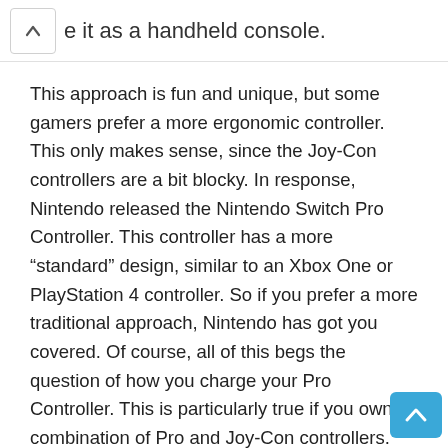e it as a handheld console.
This approach is fun and unique, but some gamers prefer a more ergonomic controller. This only makes sense, since the Joy-Con controllers are a bit blocky. In response, Nintendo released the Nintendo Switch Pro Controller. This controller has a more “standard” design, similar to an Xbox One or PlayStation 4 controller. So if you prefer a more traditional approach, Nintendo has got you covered. Of course, all of this begs the question of how you charge your Pro Controller. This is particularly true if you own a combination of Pro and Joy-Con controllers. Unless you want a rats